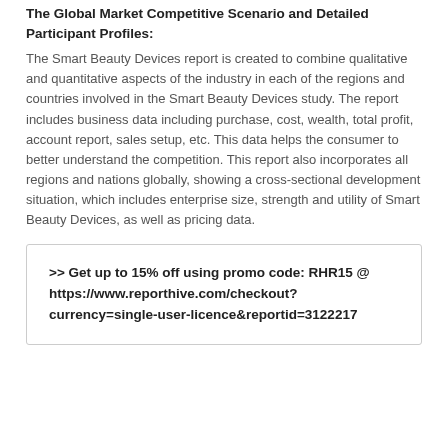The Global Market Competitive Scenario and Detailed Participant Profiles:
The Smart Beauty Devices report is created to combine qualitative and quantitative aspects of the industry in each of the regions and countries involved in the Smart Beauty Devices study. The report includes business data including purchase, cost, wealth, total profit, account report, sales setup, etc. This data helps the consumer to better understand the competition. This report also incorporates all regions and nations globally, showing a cross-sectional development situation, which includes enterprise size, strength and utility of Smart Beauty Devices, as well as pricing data.
>> Get up to 15% off using promo code: RHR15 @ https://www.reporthive.com/checkout?currency=single-user-licence&reportid=3122217